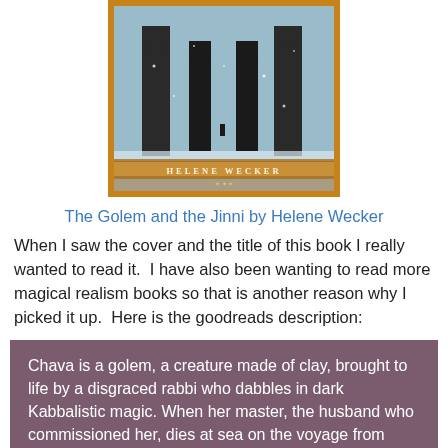[Figure (illustration): Book cover of 'The Golem and the Jinni' by Helene Wecker, showing a snowy winter scene with dark arches/columns in a park, with a small figure in the distance. The cover has an ornate golden-orange border and the author's name 'HELENE WECKER' in gold letters at the bottom.]
The Golem and the Jinni by Helene Wecker
When I saw the cover and the title of this book I really wanted to read it.  I have also been wanting to read more magical realism books so that is another reason why I picked it up.  Here is the goodreads description:
Chava is a golem, a creature made of clay, brought to life by a disgraced rabbi who dabbles in dark Kabbalistic magic. When her master, the husband who commissioned her, dies at sea on the voyage from Poland, she is unmoored and adrift as the ship arrives in New York in 1899. Ahmad is a jinni, a being of fire, born in the ancient Syrian desert. Trapped in an old copper flask, he is...